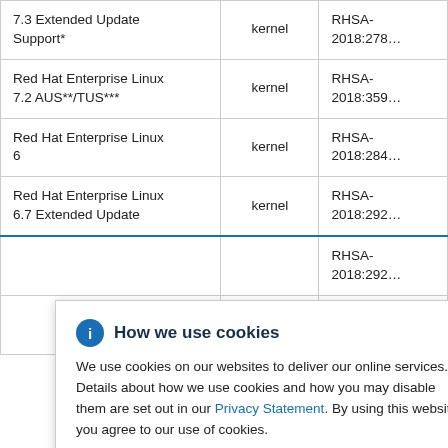| Platform | Package | Advisory |
| --- | --- | --- |
| 7.3 Extended Update Support* | kernel | RHSA-2018:278… |
| Red Hat Enterprise Linux 7.2 AUS**/TUS*** | kernel | RHSA-2018:359… |
| Red Hat Enterprise Linux 6 | kernel | RHSA-2018:284… |
| Red Hat Enterprise Linux 6.7 Extended Update … | kernel | RHSA-2018:292… |
| … | kernel | RHSA-2018:292… |
| … | kernel | RHSA-2018:293… |
How we use cookies
We use cookies on our websites to deliver our online services. Details about how we use cookies and how you may disable them are set out in our Privacy Statement. By using this website you agree to our use of cookies.